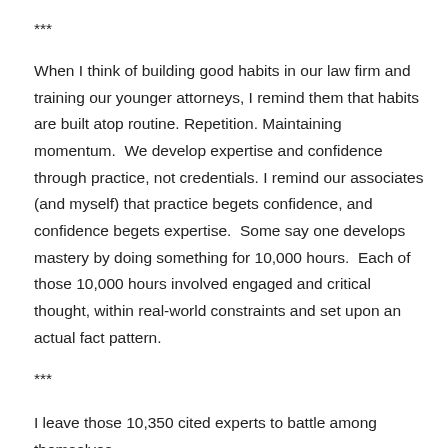***
When I think of building good habits in our law firm and training our younger attorneys, I remind them that habits are built atop routine. Repetition. Maintaining momentum.  We develop expertise and confidence through practice, not credentials. I remind our associates (and myself) that practice begets confidence, and confidence begets expertise.  Some say one develops mastery by doing something for 10,000 hours.  Each of those 10,000 hours involved engaged and critical thought, within real-world constraints and set upon an actual fact pattern.
***
I leave those 10,350 cited experts to battle among themselves,